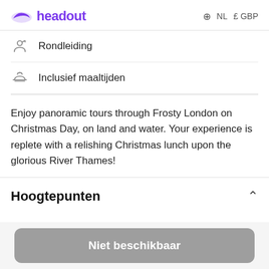headout   NL  £ GBP
Rondleiding
Inclusief maaltijden
Enjoy panoramic tours through Frosty London on Christmas Day, on land and water. Your experience is replete with a relishing Christmas lunch upon the glorious River Thames!
Hoogtepunten
Niet beschikbaar